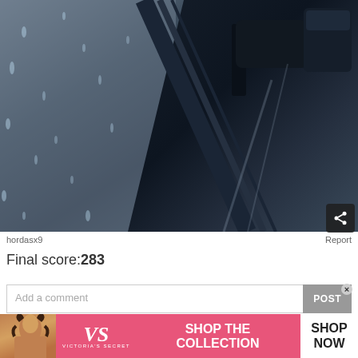[Figure (photo): Close-up photo of a car door/wing mirror covered in raindrops on a dark wet surface]
hordasx9
Report
Final score:283
Add a comment
POST
[Figure (photo): Victoria's Secret advertisement banner - SHOP THE COLLECTION - SHOP NOW]